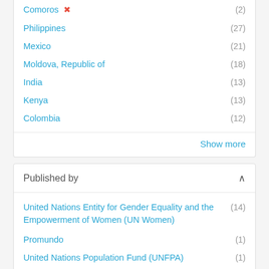Comoros (2)
Philippines (27)
Mexico (21)
Moldova, Republic of (18)
India (13)
Kenya (13)
Colombia (12)
Show more
Published by
United Nations Entity for Gender Equality and the Empowerment of Women (UN Women) (14)
Promundo (1)
United Nations Population Fund (UNFPA) (1)
1 - 14 of 14 Results